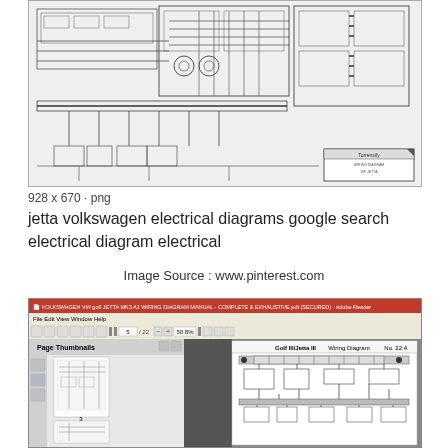[Figure (engineering-diagram): Volkswagen Jetta electrical wiring diagram showing complex circuit connections, components, and wiring harness layout in black and white schematic style with a title block in lower right corner]
928 x 670 · png
jetta volkswagen electrical diagrams google search electrical diagram electrical
Image Source : www.pinterest.com
[Figure (screenshot): Screenshot of Adobe Reader displaying VOLKSWAGEN VW golf JETTA MK3 A2 WIRING DIAGRAM MANUAL - COMPLETE & EXHAUSTIVE.pdf (SECURED). Shows the application toolbar, page thumbnails panel on left, and main document view showing Golf III/Jetta III Wiring Diagram No. 22:4 with electrical circuit diagram]